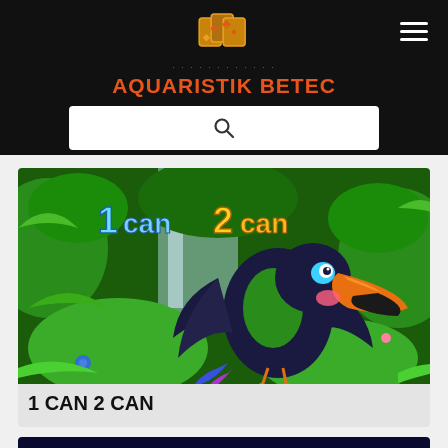AQUARISTIK BETEC
[Figure (screenshot): 1 Can 2 Can slot game promotional image featuring a toucan bird in a jungle setting with colorful logo text '1can 2can']
1 CAN 2 CAN
[Figure (screenshot): Partial view of another game promotional image at bottom of page]